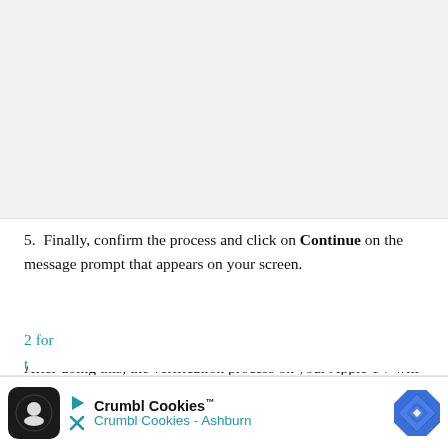[Figure (screenshot): Gray placeholder area at the top of the page representing an image or screenshot]
5. Finally, confirm the process and click on Continue on the message prompt that appears on your screen.
After doing this, the verification process on your Apple TV will not be prompted again. If you still see the message, then try to sign out your Apple ID account and sign it back in. You can refer to Method 2 for the updat... ake
[Figure (infographic): Crumbl Cookies advertisement banner at the bottom of the page showing logo, play/close buttons, Crumbl Cookies brand name, Crumbl Cookies - Ashburn location text, and a blue diamond navigation icon]